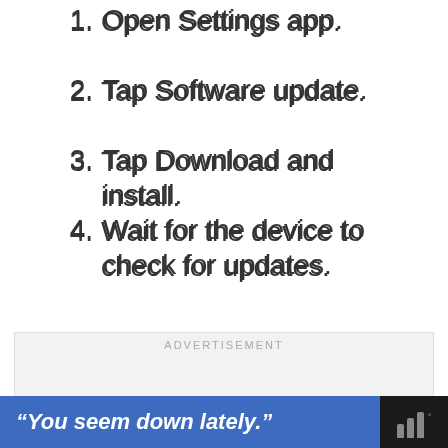1. Open Settings app.
2. Tap Software update.
3. Tap Download and install.
4. Wait for the device to check for updates.
5. Install the update. If there’s no new update, your phone should tell you so.
ADVERTISEMENT
“You seem down lately.”